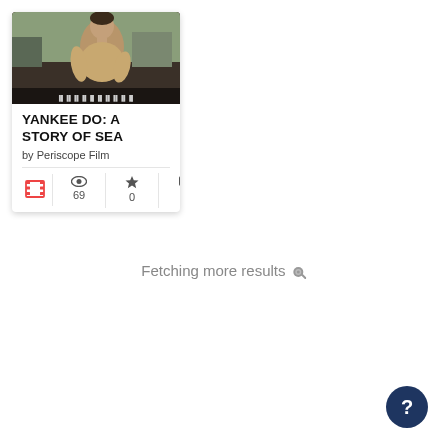[Figure (screenshot): A video/film card UI element showing a thumbnail image of a man in a tan shirt outdoors, with the title 'YANKEE DO: A STORY OF SEA' by Periscope Film, and stats showing film icon, 69 views, 0 stars, 0 comments]
Fetching more results ...